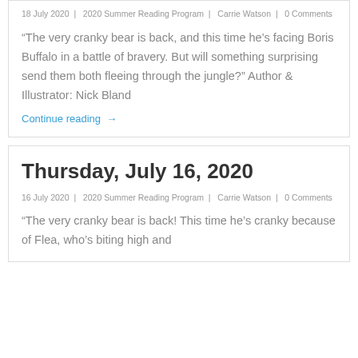18 July 2020  |  2020 Summer Reading Program  |  Carrie Watson  |  0 Comments
“The very cranky bear is back, and this time he’s facing Boris Buffalo in a battle of bravery. But will something surprising send them both fleeing through the jungle?” Author & Illustrator: Nick Bland
Continue reading →
Thursday, July 16, 2020
16 July 2020  |  2020 Summer Reading Program  |  Carrie Watson  |  0 Comments
“The very cranky bear is back! This time he’s cranky because of Flea, who’s biting high and